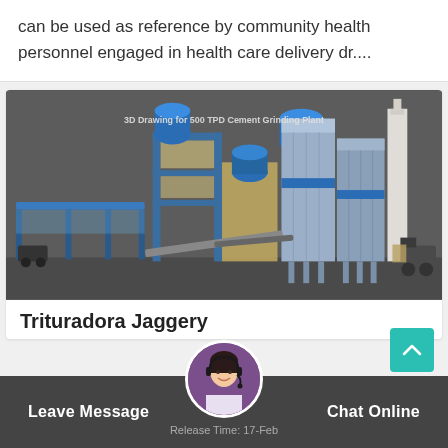can be used as reference by community health personnel engaged in health care delivery dr....
[Figure (engineering-diagram): 3D Drawing for 500 TPD Cement Grinding Plant — industrial 3D rendering showing silos, steel-frame structures, conveyors, and processing equipment with blue accent parts on a dark grey background.]
Trituradora Jaggery
Release Time: 17-Feb
Leave Message   Chat Online